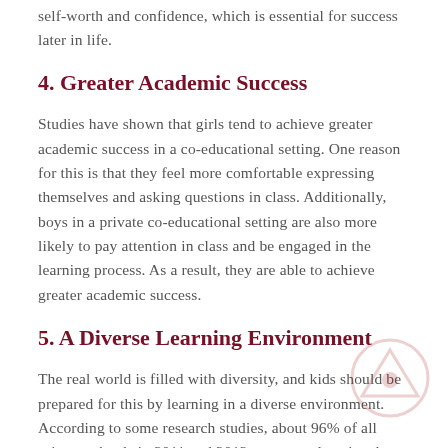self-worth and confidence, which is essential for success later in life.
4. Greater Academic Success
Studies have shown that girls tend to achieve greater academic success in a co-educational setting. One reason for this is that they feel more comfortable expressing themselves and asking questions in class. Additionally, boys in a private co-educational setting are also more likely to pay attention in class and be engaged in the learning process. As a result, they are able to achieve greater academic success.
5. A Diverse Learning Environment
The real world is filled with diversity, and kids should be prepared for this by learning in a diverse environment. According to some research studies, about 96% of all private schools in 2011 and 2012 were co-educational, while only 2% allowed boys alone and 2% allowed girls